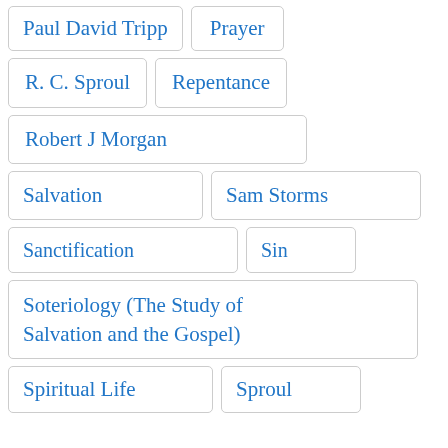Paul David Tripp
Prayer
R. C. Sproul
Repentance
Robert J Morgan
Salvation
Sam Storms
Sanctification
Sin
Soteriology (The Study of Salvation and the Gospel)
Spiritual Life
Sproul